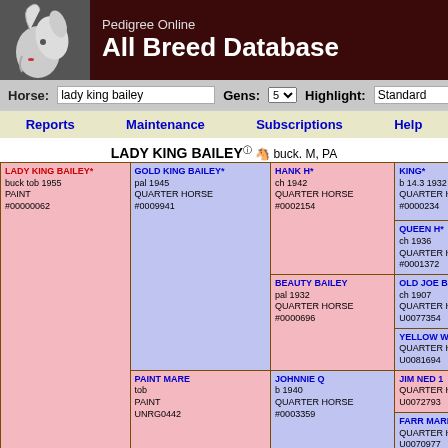Pedigree Online All Breed Database
Horse: lady king bailey  Gens: 5  Highlight: Standard
Reports  Maintenance  Subscriptions  Help
LADY KING BAILEY buck. M, PA
| Gen1 | Gen2 | Gen3 | Gen4 | Gen5 |
| --- | --- | --- | --- | --- |
| LADY KING BAILEY*
buck tob 1955
PAINT
#00000062 | GOLD KING BAILEY*
pal 1945
QUARTER HORSE
#0009941 | HANK H*
ch 1942
QUARTER HORSE
#0002154 | KING*
b 14.3 1932
QUARTER HORSE
#0000234 | ZANTA
ch 1917 |
|  |  |  | QUEEN H*
ch 1936
QUARTER HORSE
#0001372 | DAN 1
sor 1920 |
|  |  |  |  | NAIL Q |
|  |  | BEAUTY BAILEY
pal 1932
QUARTER HORSE
#0000696 | OLD JOE BAILEY*
ch 1907
QUARTER HORSE
U0077354 | EUREKA
b 1890 |
|  |  |  |  | SUSIE M
ch 1890 |
|  |  |  | YELLOW WOLF MARE
QUARTER HORSE
U0081694 | YELLO
buck 19 |
|  | PAINT MARE
tob
PAINT
UNRG0442 | JOHNNIE Q
b 1940
QUARTER HORSE
#0003359 | JIM NED 1
QUARTER HORSE
U0072793 | JAZZ 1
b 1916 |
|  |  |  |  | MARE D |
|  |  |  | FARR MARE
QUARTER HORSE
U0070977 |  |
|  |  |  |  |  |